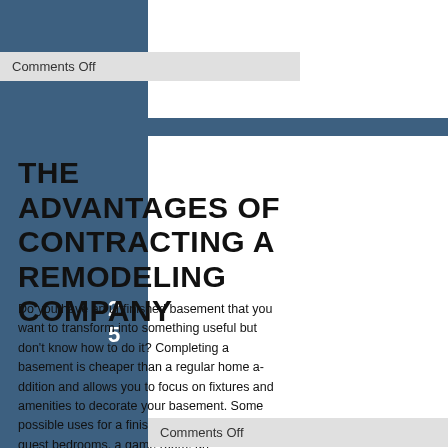Comments Off
2
5
THE ADVANTAGES OF CONTRACTING A REMODELING COMPANY
Do you have an unfinished basement that you want to transform into something useful but don't know how to do it? Completing a basement is cheaper than a regular home addition and allows you to focus on fixtures and amenities to decorate your basement. Some possible uses for a finished basement are guest bedrooms, a game room, an entertainment room, or anything else you have in mind. Doing this will increase the value of your home and add your quality of life. Hiring basement renovation services North Westminster ON professional can save you time, money and hassle for completing this big project. Our extensive experience in remodeling will make sure that your project is completed at the highest level of professionalism. Give us a call today, and we will make sure it's done the right way.
Comments Off